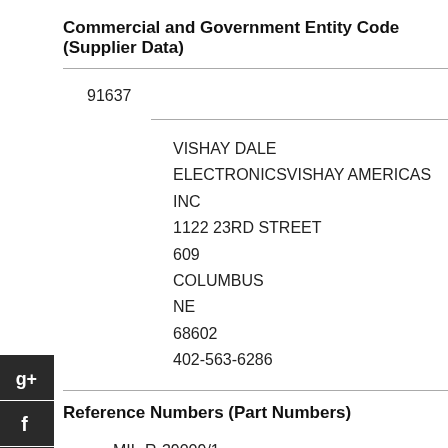Commercial and Government Entity Code (Supplier Data)
91637
VISHAY DALE ELECTRONICSVISHAY AMERICAS INC
1122 23RD STREET
609
COLUMBUS
NE
68602
402-563-6286
Reference Numbers (Part Numbers)
MIL-R-39009/1
RER65F2210M
RER65F2210R
RE65G2200
RH-10-220-2HMS2%